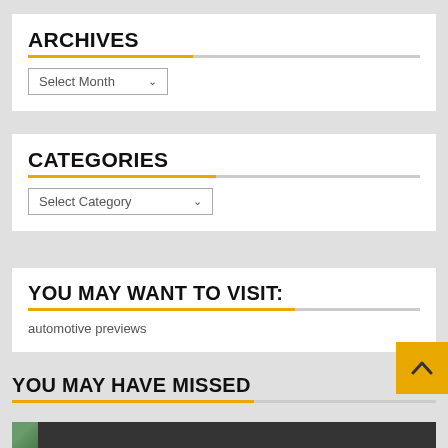ARCHIVES
Select Month
CATEGORIES
Select Category
YOU MAY WANT TO VISIT:
automotive previews
YOU MAY HAVE MISSED
[Figure (screenshot): Dark footer area with a partial image thumbnail visible at bottom]